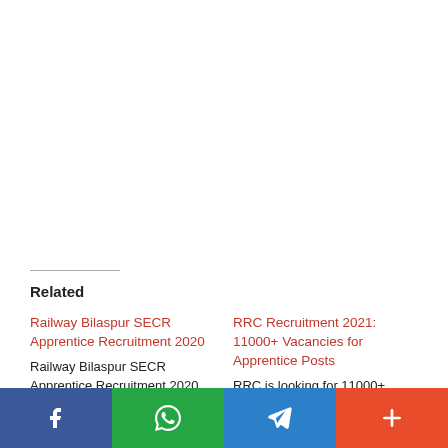Related
Railway Bilaspur SECR Apprentice Recruitment 2020
Railway Bilaspur SECR Apprentice Recruitment 2020 SECR Railway Bilaspur Indian Railways…
RRC Recruitment 2021: 11000+ Vacancies for Apprentice Posts
RRC is looking for 11000+ Apprentice under Northern Railway, Eastern Railways, South Western…
[Figure (other): Social share bar with Facebook, WhatsApp, Telegram, and More buttons]